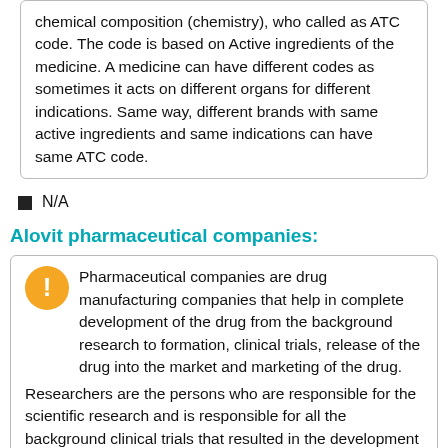chemical composition (chemistry), who called as ATC code. The code is based on Active ingredients of the medicine. A medicine can have different codes as sometimes it acts on different organs for different indications. Same way, different brands with same active ingredients and same indications can have same ATC code.
N/A
Alovit pharmaceutical companies:
Pharmaceutical companies are drug manufacturing companies that help in complete development of the drug from the background research to formation, clinical trials, release of the drug into the market and marketing of the drug. Researchers are the persons who are responsible for the scientific research and is responsible for all the background clinical trials that resulted in the development of the drug.